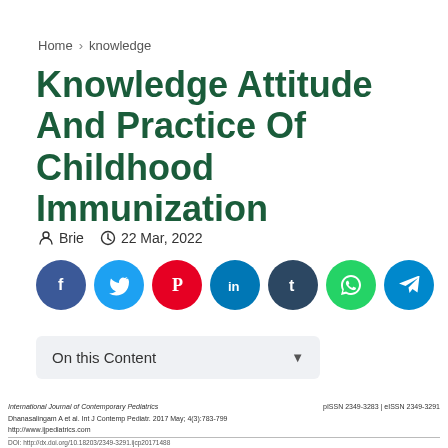Home › knowledge
Knowledge Attitude And Practice Of Childhood Immunization
Brie   22 Mar, 2022
[Figure (infographic): Social sharing buttons row: Facebook (dark blue), Twitter (light blue), Pinterest (red), LinkedIn (dark blue), Tumblr (navy), WhatsApp (green), Telegram (light blue)]
On this Content
International Journal of Contemporary Pediatrics
Dhanasalingam A et al. Int J Contemp Pediatr. 2017 May; 4(3):785-799
http://www.ijpediatrics.com
pISSN 2349-3283 | eISSN 2349-3291